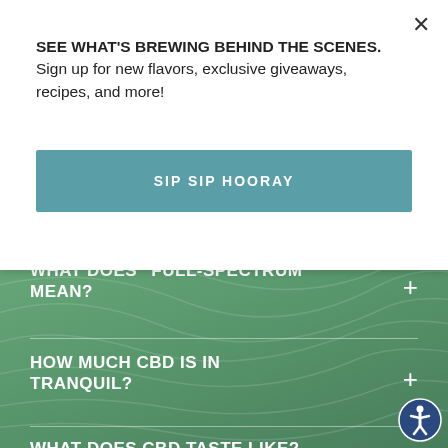SEE WHAT'S BREWING BEHIND THE SCENES. Sign up for new flavors, exclusive giveaways, recipes, and more!
SIP SIP HOORAY
WHAT DOES “FULL-SPECTRUM” MEAN?
HOW MUCH CBD IS IN TRANQUIL?
WHAT DOES CBD TASTE LIKE?